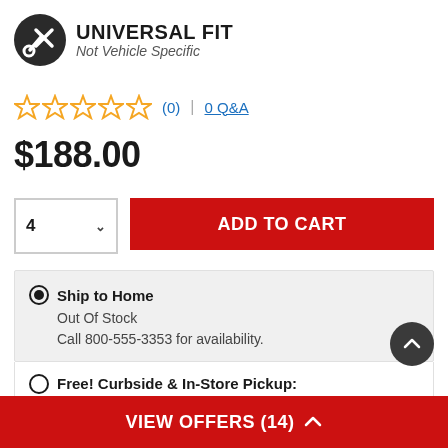[Figure (logo): Universal Fit badge with wrench and screwdriver icon in dark circle, text UNIVERSAL FIT bold and Not Vehicle Specific italic]
☆☆☆☆☆ (0) | 0 Q&A
$188.00
4 ∨  ADD TO CART
Ship to Home
Out Of Stock
Call 800-555-3353 for availability.
Free! Curbside & In-Store Pickup:
VIEW OFFERS (14) ^